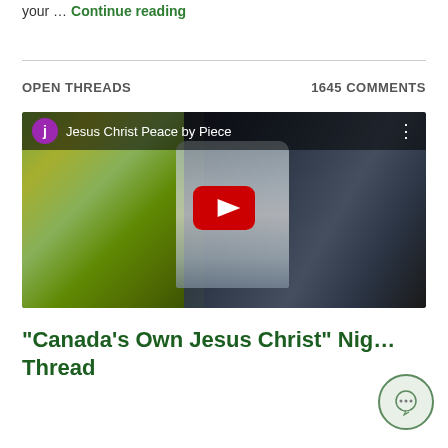your … Continue reading
OPEN THREADS   1645 COMMENTS
[Figure (screenshot): YouTube video embed showing 'Jesus Christ Peace by Piece' with a purple avatar icon, video title in white text, dark moody background with yellow-green and dark blue tones, and a red YouTube play button in the center]
“Canada’s Own Jesus Christ” Nig… Thread